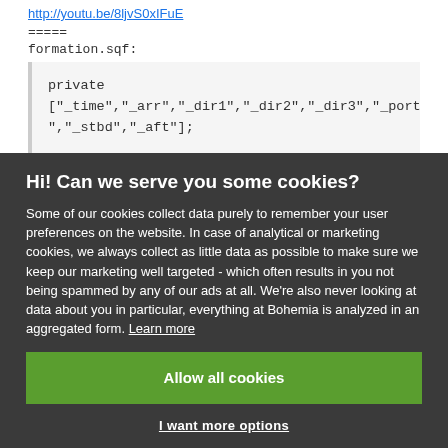http://youtu.be/8ljvS0xIFuE
=====
formation.sqf:
private
["_time","_arr","_dir1","_dir2","_dir3","_port","_stbd","_aft"];
Hi! Can we serve you some cookies?
Some of our cookies collect data purely to remember your user preferences on the website. In case of analytical or marketing cookies, we always collect as little data as possible to make sure we keep our marketing well targeted - which often results in you not being spammed by any of our ads at all. We're also never looking at data about you in particular, everything at Bohemia is analyzed in an aggregated form. Learn more
Allow all cookies
I want more options